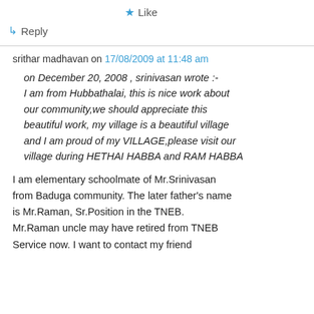★ Like
↳ Reply
srithar madhavan on 17/08/2009 at 11:48 am
on December 20, 2008 , srinivasan wrote :- I am from Hubbathalai, this is nice work about our community,we should appreciate this beautiful work, my village is a beautiful village and I am proud of my VILLAGE,please visit our village during HETHAI HABBA and RAM HABBA
I am elementary schoolmate of Mr.Srinivasan from Baduga community. The later father's name is Mr.Raman, Sr.Position in the TNEB. Mr.Raman uncle may have retired from TNEB Service now. I want to contact my friend